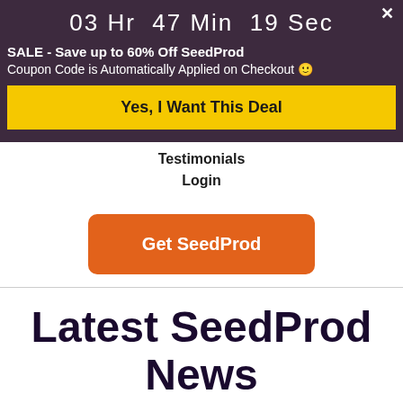03 Hr  47 Min  19 Sec
SALE - Save up to 60% Off SeedProd
Coupon Code is Automatically Applied on Checkout 🙂
Yes, I Want This Deal
Testimonials
Login
Get SeedProd
Latest SeedProd News